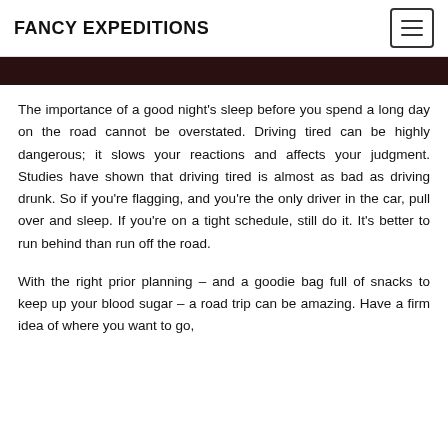FANCY EXPEDITIONS
[Figure (photo): Dark colored image strip at top of content area]
The importance of a good night's sleep before you spend a long day on the road cannot be overstated. Driving tired can be highly dangerous; it slows your reactions and affects your judgment. Studies have shown that driving tired is almost as bad as driving drunk. So if you're flagging, and you're the only driver in the car, pull over and sleep. If you're on a tight schedule, still do it. It's better to run behind than run off the road.
With the right prior planning – and a goodie bag full of snacks to keep up your blood sugar – a road trip can be amazing. Have a firm idea of where you want to go,